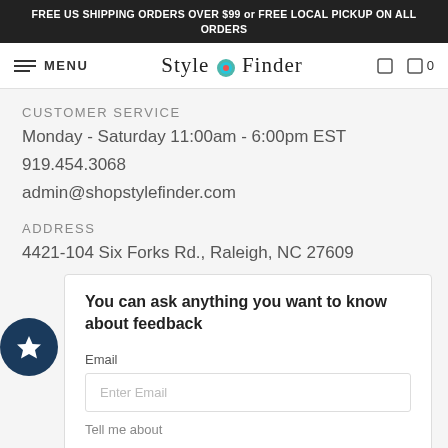FREE US SHIPPING ORDERS OVER $99 or FREE LOCAL PICKUP ON ALL ORDERS
CUSTOMER SERVICE
Monday - Saturday 11:00am - 6:00pm EST
919.454.3068
admin@shopstylefinder.com
ADDRESS
4421-104 Six Forks Rd., Raleigh, NC 27609
You can ask anything you want to know about feedback
Email
Enter Email
Tell me about